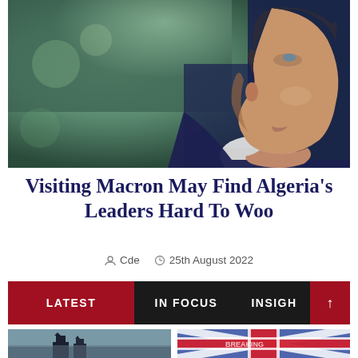[Figure (photo): Close-up profile photo of Emmanuel Macron, a middle-aged man in a dark suit with white shirt, looking to the right, with blurred green background]
Visiting Macron May Find Algeria's Leaders Hard To Woo
Cde   25th August 2022
LATEST   IN FOCUS   INSIGH
[Figure (photo): Thumbnail image showing two dark tower silhouettes against a hazy sky]
[Figure (photo): Thumbnail image showing red, white and blue flag (Union Jack) in close-up]